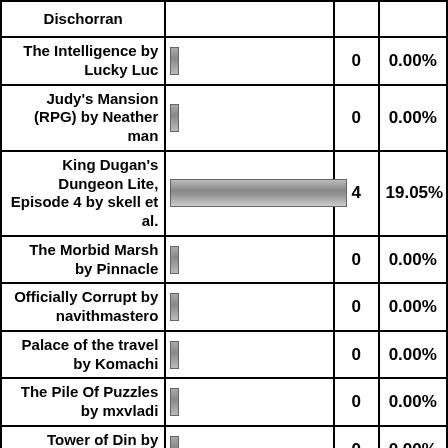| Game | Bar | Count | Percentage |
| --- | --- | --- | --- |
| Dischorran |  |  |  |
| The Intelligence by Lucky Luc |  | 0 | 0.00% |
| Judy's Mansion (RPG) by Neatherman |  | 0 | 0.00% |
| King Dugan's Dungeon Lite, Episode 4 by skell et al. |  | 4 | 19.05% |
| The Morbid Marsh by Pinnacle |  | 0 | 0.00% |
| Officially Corrupt by navithmastero |  | 0 | 0.00% |
| Palace of the travel by Komachi |  | 0 | 0.00% |
| The Pile Of Puzzles by mxvladi |  | 0 | 0.00% |
| Tower of Din by RuAdam |  | 0 | 0.00% |
| Trial Tower (RPG) |  | 1 | 4.76% |